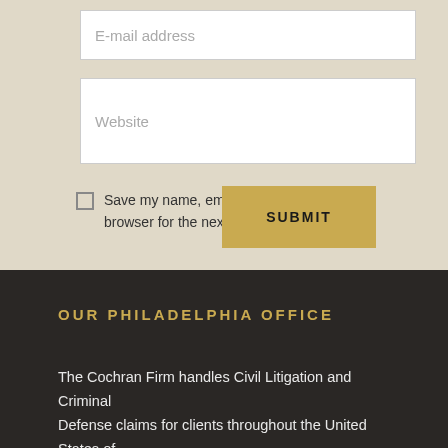E-mail address
Website
Save my name, email, and website in this browser for the next time I comment.
SUBMIT
OUR PHILADELPHIA OFFICE
The Cochran Firm handles Civil Litigation and Criminal Defense claims for clients throughout the United States of